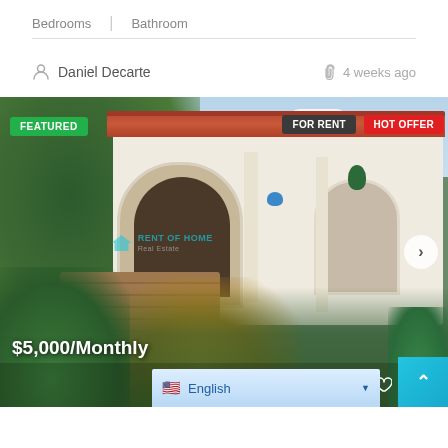Bedrooms | Bathroom
Daniel Decarte
4 weeks ago
[Figure (photo): Exterior photo of a white Spanish-style villa/house for rent, with arched entryway, red tile roof, surrounded by tropical greenery and plants. Badges: FEATURED, FOR RENT, HOT OFFER. Price: $5,000/Monthly. Watermark logo visible. Navigation arrow on right.]
$5,000/Monthly
English